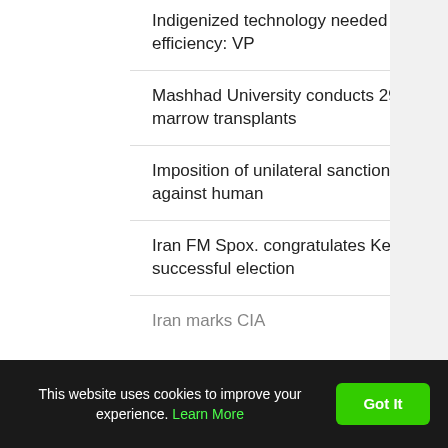Indigenized technology needed for energy efficiency: VP
Mashhad University conducts 290 bone marrow transplants
Imposition of unilateral sanctions, unlawful, against human
Iran FM Spox. congratulates Kenya on successful election
Iran marks CIA
This website uses cookies to improve your experience. Learn More